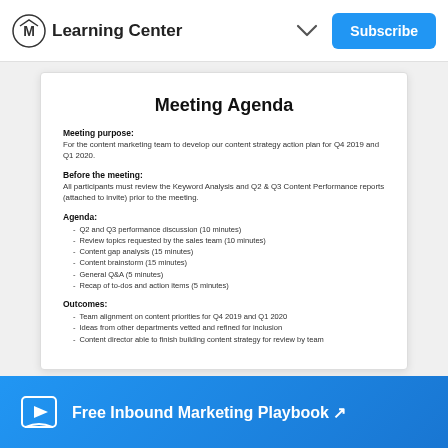Learning Center
Meeting Agenda
Meeting purpose:
For the content marketing team to develop our content strategy action plan for Q4 2019 and Q1 2020.
Before the meeting:
All participants must review the Keyword Analysis and Q2 & Q3 Content Performance reports (attached to invite) prior to the meeting.
Agenda:
Q2 and Q3 performance discussion (10 minutes)
Review topics requested by the sales team (10 minutes)
Content gap analysis (15 minutes)
Content brainstorm (15 minutes)
General Q&A (5 minutes)
Recap of to-dos and action items (5 minutes)
Outcomes:
Team alignment on content priorities for Q4 2019 and Q1 2020
Ideas from other departments vetted and refined for inclusion
Content director able to finish building content strategy for review by team
Free Inbound Marketing Playbook ↗